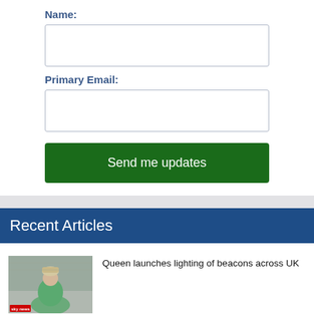Name:
Primary Email:
Send me updates
Recent Articles
[Figure (photo): Photo of Queen in turquoise jacket, Sky News logo at bottom left]
Queen launches lighting of beacons across UK
[Figure (photo): Photo of person with red border frame]
George Conway: Trump wants the affidavit to